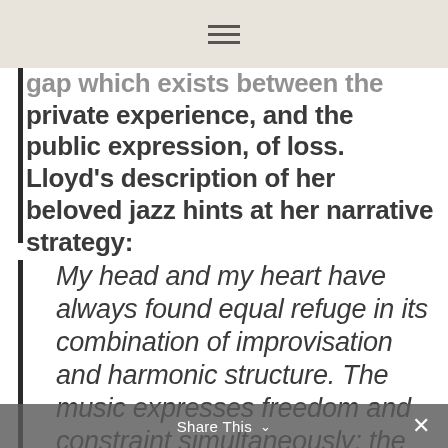☰
gap which exists between the private experience, and the public expression, of loss. Lloyd's description of her beloved jazz hints at her narrative strategy:
My head and my heart have always found equal refuge in its combination of improvisation and harmonic structure. The music expresses freedom and constraint simultaneously; the freedom to improvise is in fact only created through